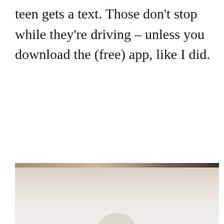teen gets a text. Those don't stop while they're driving – unless you download the (free) app, like I did.
[Figure (photo): A photograph showing a light-colored surface with a dark wood-grain or leather strip at the top, partial view of what appears to be a person or object at the bottom center.]